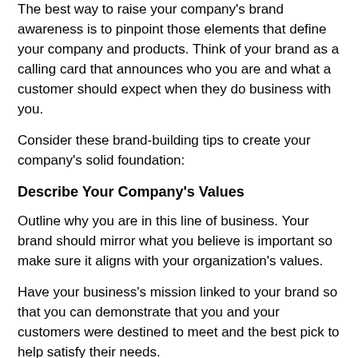The best way to raise your company's brand awareness is to pinpoint those elements that define your company and products. Think of your brand as a calling card that announces who you are and what a customer should expect when they do business with you.
Consider these brand-building tips to create your company's solid foundation:
Describe Your Company's Values
Outline why you are in this line of business. Your brand should mirror what you believe is important so make sure it aligns with your organization's values.
Have your business's mission linked to your brand so th... can demonstrate that you and your customers were des... meet and the best pick to help satisfy their needs.